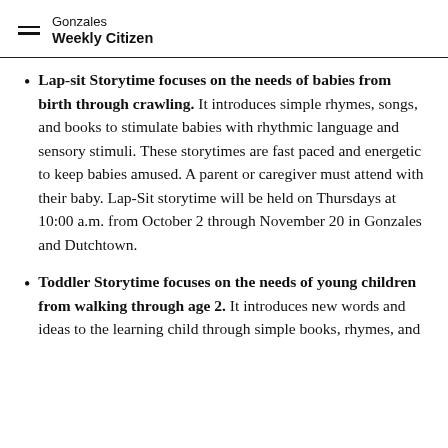Gonzales Weekly Citizen
Lap-sit Storytime focuses on the needs of babies from birth through crawling. It introduces simple rhymes, songs, and books to stimulate babies with rhythmic language and sensory stimuli. These storytimes are fast paced and energetic to keep babies amused. A parent or caregiver must attend with their baby. Lap-Sit storytime will be held on Thursdays at 10:00 a.m. from October 2 through November 20 in Gonzales and Dutchtown.
Toddler Storytime focuses on the needs of young children from walking through age 2. It introduces new words and ideas to the learning child through simple books, rhymes, and songs. A parent or caregiver must attend.